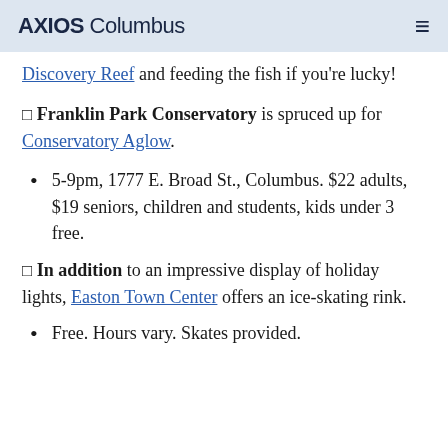AXIOS Columbus
Discovery Reef and feeding the fish if you're lucky!
🔲 Franklin Park Conservatory is spruced up for Conservatory Aglow.
5-9pm, 1777 E. Broad St., Columbus. $22 adults, $19 seniors, children and students, kids under 3 free.
🔲 In addition to an impressive display of holiday lights, Easton Town Center offers an ice-skating rink.
Free. Hours vary. Skates provided.